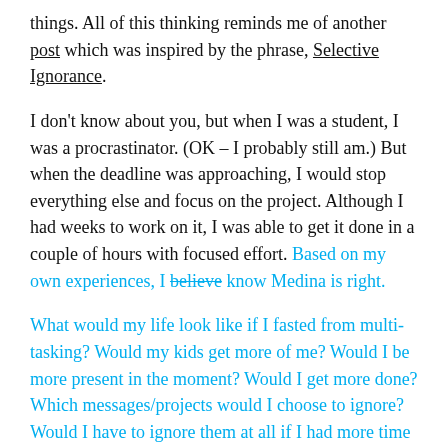things. All of this thinking reminds me of another post which was inspired by the phrase, Selective Ignorance.
I don't know about you, but when I was a student, I was a procrastinator. (OK – I probably still am.) But when the deadline was approaching, I would stop everything else and focus on the project. Although I had weeks to work on it, I was able to get it done in a couple of hours with focused effort. Based on my own experiences, I believe know Medina is right.
What would my life look like if I fasted from multi-tasking? Would my kids get more of me? Would I be more present in the moment? Would I get more done? Which messages/projects would I choose to ignore? Would I have to ignore them at all if I had more time 'cause I was getting more things done?